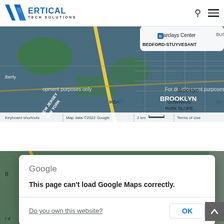[Figure (logo): Vertical Tech Solutions logo with blue chevron/diamond icon and company name]
[Figure (screenshot): Google Maps screenshot showing Brooklyn, New York area with 'For development purposes only' watermark. Shows Barclays Center, IKEA, Gowanus, Park Slope, Bedford-Stuyvesant, Brooklyn neighborhoods. Map data ©2022 Google. Keyboard shortcuts, 2 km scale, Terms of Use shown at bottom.]
[Figure (screenshot): Google Maps screenshot (partially visible behind dialog) showing map background in dark green/teal tones.]
Google
This page can't load Google Maps correctly.
Do you own this website?
OK